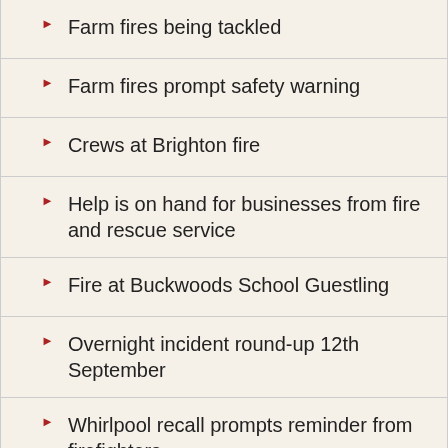Farm fires being tackled
Farm fires prompt safety warning
Crews at Brighton fire
Help is on hand for businesses from fire and rescue service
Fire at Buckwoods School Guestling
Overnight incident round-up 12th September
Whirlpool recall prompts reminder from firefighters
A feat of human endurance- Casper's Journey
Bin fires..bonfires..electrical.. and flooding overnight call-outs
Crews tackle fire at Newhaven waste management